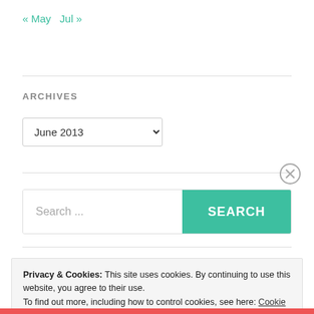« May   Jul »
ARCHIVES
June 2013 (dropdown)
Search ...  [SEARCH button]
Privacy & Cookies: This site uses cookies. By continuing to use this website, you agree to their use.
To find out more, including how to control cookies, see here: Cookie Policy
Close and accept